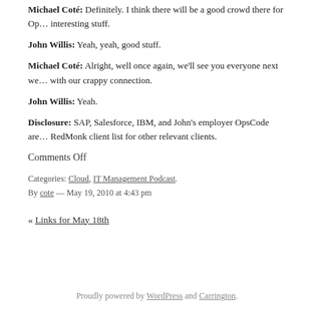Michael Coté: Definitely. I think there will be a good crowd there for Op… interesting stuff.
John Willis: Yeah, yeah, good stuff.
Michael Coté: Alright, well once again, we'll see you everyone next we… with our crappy connection.
John Willis: Yeah.
Disclosure: SAP, Salesforce, IBM, and John's employer OpsCode are… RedMonk client list for other relevant clients.
Comments Off
Categories: Cloud, IT Management Podcast.
By cote — May 19, 2010 at 4:43 pm
« Links for May 18th
Proudly powered by WordPress and Carrington.